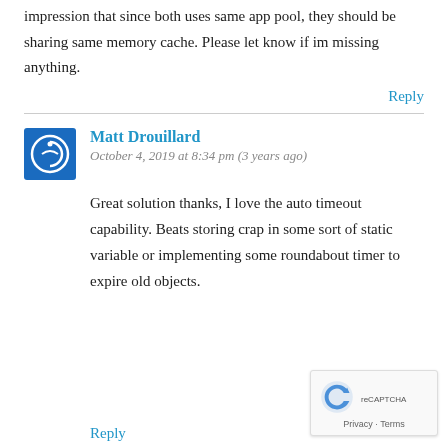impression that since both uses same app pool, they should be sharing same memory cache. Please let know if im missing anything.
Reply
Matt Drouillard
October 4, 2019 at 8:34 pm (3 years ago)
Great solution thanks, I love the auto timeout capability. Beats storing crap in some sort of static variable or implementing some roundabout timer to expire old objects.